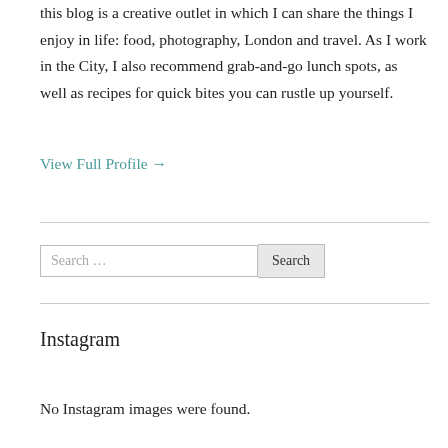this blog is a creative outlet in which I can share the things I enjoy in life: food, photography, London and travel. As I work in the City, I also recommend grab-and-go lunch spots, as well as recipes for quick bites you can rustle up yourself.
View Full Profile →
Search …
Instagram
No Instagram images were found.